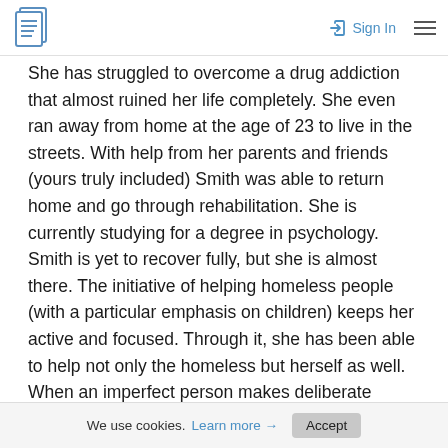Sign In
She has struggled to overcome a drug addiction that almost ruined her life completely. She even ran away from home at the age of 23 to live in the streets. With help from her parents and friends (yours truly included) Smith was able to return home and go through rehabilitation. She is currently studying for a degree in psychology. Smith is yet to recover fully, but she is almost there. The initiative of helping homeless people (with a particular emphasis on children) keeps her active and focused. Through it, she has been able to help not only the homeless but herself as well. When an imperfect person makes deliberate
We use cookies. Learn more → Accept